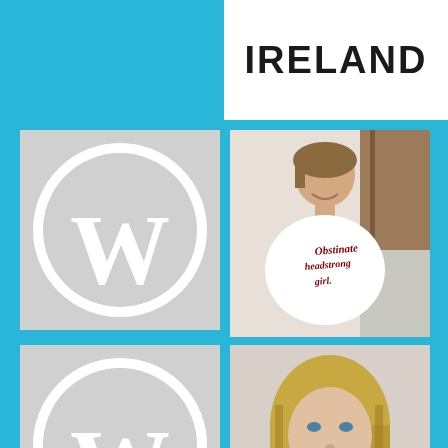IRELAND
[Figure (logo): WordPress logo on grey background, top-left]
[Figure (photo): Young woman wearing a white t-shirt reading 'Obstinate headstrong girl.' smiling, on a staircase]
[Figure (logo): WordPress logo on grey background, bottom-left]
[Figure (photo): Young blonde woman looking at camera, wearing dark top]